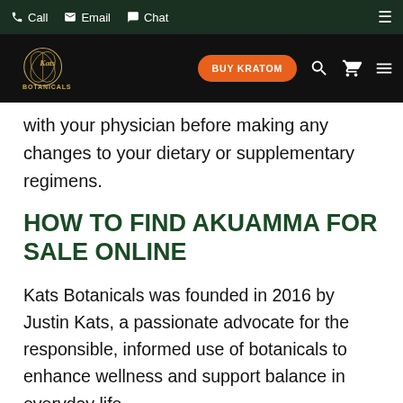Call  Email  Chat
[Figure (logo): Kats Botanicals logo with golden leaf/circle design and BUY KRATOM orange button, search, cart, and hamburger menu icons on dark nav bar]
with your physician before making any changes to your dietary or supplementary regimens.
HOW TO FIND AKUAMMA FOR SALE ONLINE
Kats Botanicals was founded in 2016 by Justin Kats, a passionate advocate for the responsible, informed use of botanicals to enhance wellness and support balance in everyday life.
Today, we're proud to offer a full suite of plant-